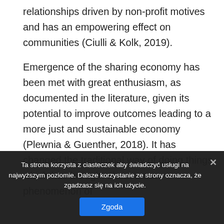relationships driven by non-profit motives and has an empowering effect on communities (Ciulli & Kolk, 2019).
Emergence of the sharing economy has been met with great enthusiasm, as documented in the literature, given its potential to improve outcomes leading to a more just and sustainable economy (Plewnia & Guenther, 2018). It has changed the traditional way of doing things which has brought about a new phenomenon of
Ta strona korzysta z ciasteczek aby świadczyć usługi na najwyższym poziomie. Dalsze korzystanie ze strony oznacza, że zgadzasz się na ich użycie.